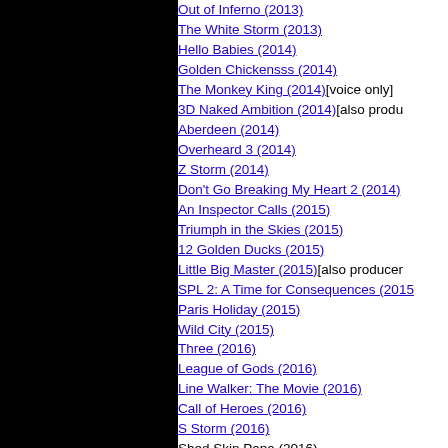Out of Inferno (2013)
The White Storm (2013)
Hello Babies (2014)
Golden Chickensss (2014)
The Monkey King (2014)[voice only]
3D Naked Ambition (2014)[also produ...
Aberdeen (2014)
Overheard 3 (2014)
Z Storm (2014)
Don't Go Breaking My Heart 2 (2014)
An Inspector Calls (2015)
Triumph in the Skies (2015)
12 Golden Ducks (2015)
Little Big Master (2015)[also producer...
SPL 2: A Time for Consequences (2015)
Paris Holiday (2015)
Wild City (2015)
Three (2016)
League of Gods (2016)
Line Walker: The Movie (2016)
Call of Heroes (2016)
S Storm (2016)
Shed Skin Papa (2016)